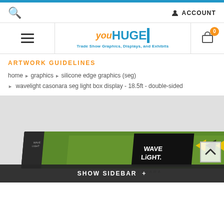youHUGE Trade Show Graphics, Displays, and Exhibits
ARTWORK GUIDELINES
home › graphics › silicone edge graphics (seg) › wavelight casonara seg light box display - 18.5ft - double-sided
[Figure (photo): Product photo of the Wavelight Casonara SEG light box display - a long horizontal backlit display with WAVE LiGHT CASONARA branding and nature-themed graphics in green and yellow.]
SHOW SIDEBAR +